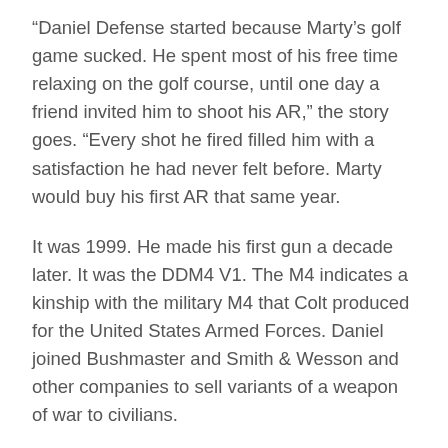“Daniel Defense started because Marty’s golf game sucked. He spent most of his free time relaxing on the golf course, until one day a friend invited him to shoot his AR,” the story goes. “Every shot he fired filled him with a satisfaction he had never felt before. Marty would buy his first AR that same year.
It was 1999. He made his first gun a decade later. It was the DDM4 V1. The M4 indicates a kinship with the military M4 that Colt produced for the United States Armed Forces. Daniel joined Bushmaster and Smith & Wesson and other companies to sell variants of a weapon of war to civilians.